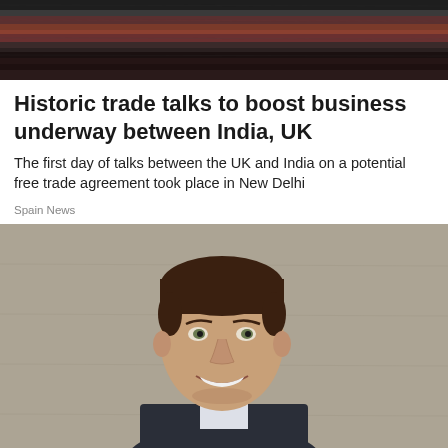[Figure (photo): Top banner image showing layered rock or textile textures in dark and reddish tones, with a lighter patch on the right side]
Historic trade talks to boost business underway between India, UK
The first day of talks between the UK and India on a potential free trade agreement took place in New Delhi
Spain News
[Figure (photo): Portrait photo of a smiling young man with short brown hair, wearing a dark suit and light shirt, against a concrete wall background]